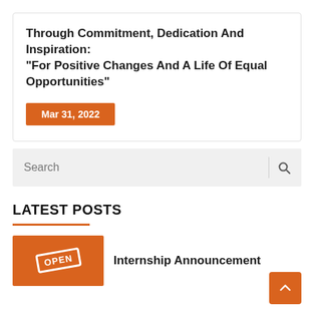Through Commitment, Dedication And Inspiration: “For Positive Changes And A Life Of Equal Opportunities”
Mar 31, 2022
Search
LATEST POSTS
Internship Announcement